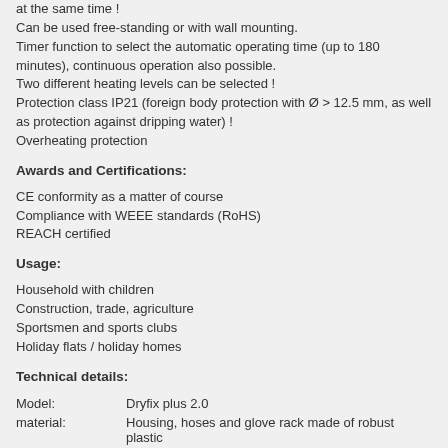at the same time !
Can be used free-standing or with wall mounting.
Timer function to select the automatic operating time (up to 180 minutes), continuous operation also possible.
Two different heating levels can be selected !
Protection class IP21 (foreign body protection with Ø > 12.5 mm, as well as protection against dripping water) !
Overheating protection
Awards and Certifications:
CE conformity as a matter of course
Compliance with WEEE standards (RoHS)
REACH certified
Usage:
Household with children
Construction, trade, agriculture
Sportsmen and sports clubs
Holiday flats / holiday homes
Technical details:
Model:    Dryfix plus 2.0
material:    Housing, hoses and glove rack made of robust plastic
Max. Noise:    10 dB/A